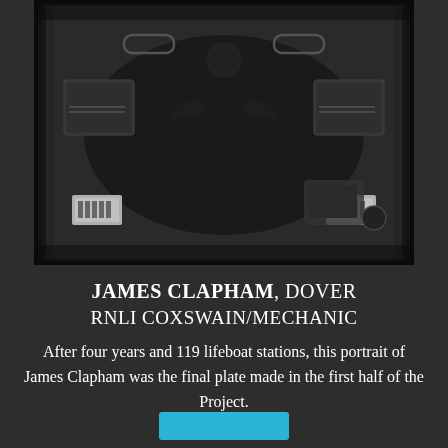[Figure (photo): Black and white photograph taken from above showing a person sitting inside a lifeboat, viewed from an aerial/top-down perspective. The boat has metal hatches, handles, and equipment visible around the edges. The image has a dark, high-contrast film photography aesthetic with dark borders.]
JAMES CLAPHAM, DOVER
RNLI COXSWAIN/MECHANIC
After four years and 119 lifeboat stations, this portrait of James Clapham was the final plate made in the first half of the Project.